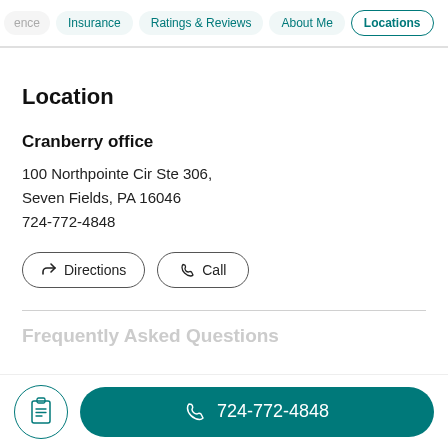ence | Insurance | Ratings & Reviews | About Me | Locations
Location
Cranberry office
100 Northpointe Cir Ste 306,
Seven Fields, PA 16046
724-772-4848
Directions  Call
Frequently Asked Questions
724-772-4848